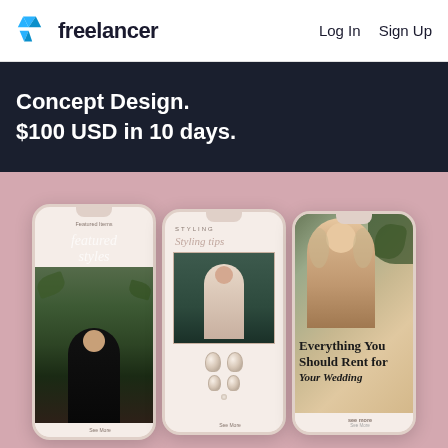freelancer  Log In  Sign Up
Concept Design.
$100 USD in 10 days.
[Figure (screenshot): Three mobile phone mockups showing a fashion app UI on a pink background. Left phone shows a woman in a black dress in a garden setting with cursive overlay text. Center phone shows a jewelry/styling screen with diamond gems and a woman in a white dress. Right phone shows a blonde woman with text 'Everything You Should Rent for Your Wedding'.]